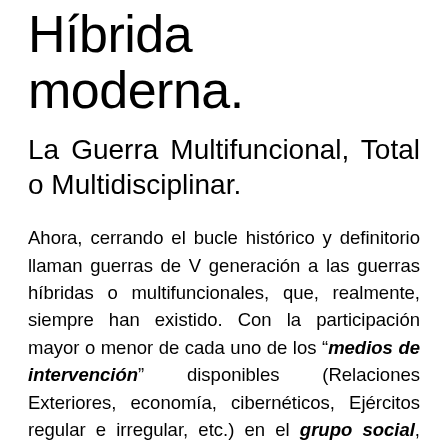Híbrida moderna.
La Guerra Multifuncional, Total o Multidisciplinar.
Ahora, cerrando el bucle histórico y definitorio llaman guerras de V generación a las guerras híbridas o multifuncionales, que, realmente, siempre han existido. Con la participación mayor o menor de cada uno de los "medios de intervención" disponibles (Relaciones Exteriores, economía, cibernéticos, Ejércitos regular e irregular, etc.) en el grupo social, para conseguir las "funciones de intervención" buscadas. Formando un «mix de medios», adaptado a los distintos teatros y